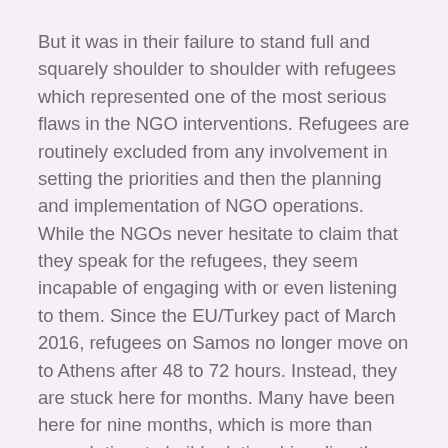But it was in their failure to stand full and squarely shoulder to shoulder with refugees which represented one of the most serious flaws in the NGO interventions. Refugees are routinely excluded from any involvement in setting the priorities and then the planning and implementation of NGO operations. While the NGOs never hesitate to claim that they speak for the refugees, they seem incapable of engaging with or even listening to them. Since the EU/Turkey pact of March 2016, refugees on Samos no longer move on to Athens after 48 to 72 hours. Instead, they are stuck here for months. Many have been here for nine months, which is more than enough time to build relationships directly with refugees and to get them actively involved. This has not happened.
The arrival of the NGOs significantly changed the nature of the refugee experience, both for the refugees and for the islanders. Help has been professionalized—with all that entails. Despite the presence of some truly